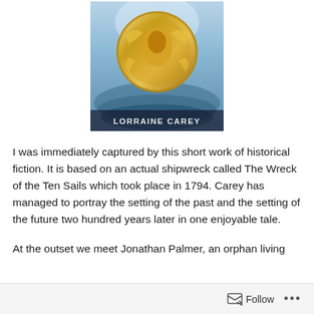[Figure (illustration): Book cover image showing a gold medallion with a female face/profile embossed on it, set against a dramatic ocean/sea background with a ship. Text at bottom reads 'LORRAINE CAREY'.]
I was immediately captured by this short work of historical fiction. It is based on an actual shipwreck called The Wreck of the Ten Sails which took place in 1794. Carey has managed to portray the setting of the past and the setting of the future two hundred years later in one enjoyable tale.
At the outset we meet Jonathan Palmer, an orphan living
Follow ...